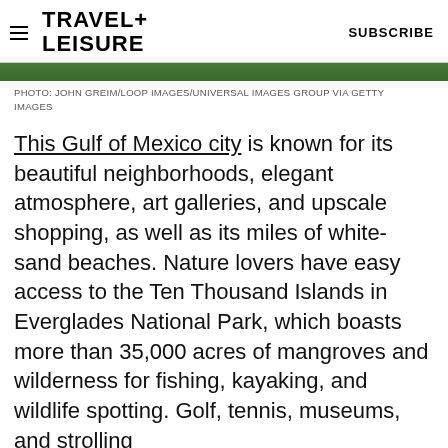TRAVEL+ LEISURE   SUBSCRIBE
[Figure (photo): Partial green outdoor photo strip visible at top of article]
PHOTO: JOHN GREIM/LOOP IMAGES/UNIVERSAL IMAGES GROUP VIA GETTY IMAGES
This Gulf of Mexico city is known for its beautiful neighborhoods, elegant atmosphere, art galleries, and upscale shopping, as well as its miles of white-sand beaches. Nature lovers have easy access to the Ten Thousand Islands in Everglades National Park, which boasts more than 35,000 acres of mangroves and wilderness for fishing, kayaking, and wildlife spotting. Golf, tennis, museums, and strolling along the pier at sunset also keep residents busy